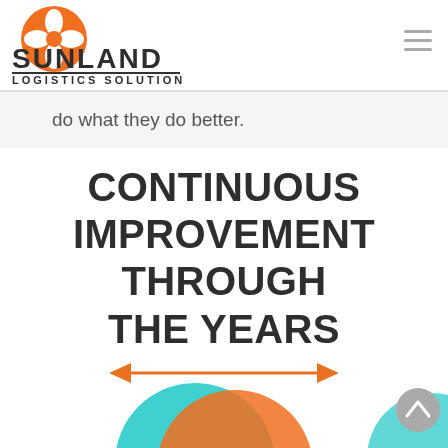[Figure (logo): Sunland Logistics Solutions logo: orange circle with white fleur/cross icon above bold text SUNLAND LOGISTICS SOLUTIONS]
do what they do better.
CONTINUOUS IMPROVEMENT THROUGH THE YEARS
[Figure (illustration): Orange double-headed horizontal arrow]
[Figure (illustration): Partial orange and teal circles at bottom of page, and a gray back-to-top button with upward chevron]